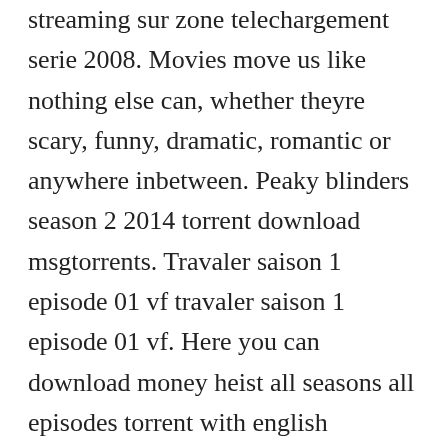streaming sur zone telechargement serie 2008. Movies move us like nothing else can, whether theyre scary, funny, dramatic, romantic or anywhere inbetween. Peaky blinders season 2 2014 torrent download msgtorrents. Travaler saison 1 episode 01 vf travaler saison 1 episode 01 vf. Here you can download money heist all seasons all episodes torrent with english subtitles, yify, kickass, eztv a mysterious character. Watching the contents online is really easy as we made sure you get to watch what you search for free and without any hassles.